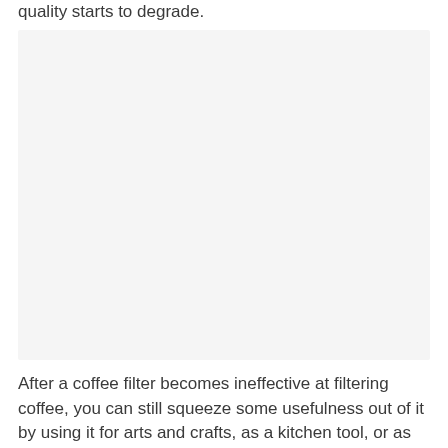quality starts to degrade.
[Figure (photo): A placeholder image area with light gray background, likely showing a coffee filter or related subject.]
After a coffee filter becomes ineffective at filtering coffee, you can still squeeze some usefulness out of it by using it for arts and crafts, as a kitchen tool, or as